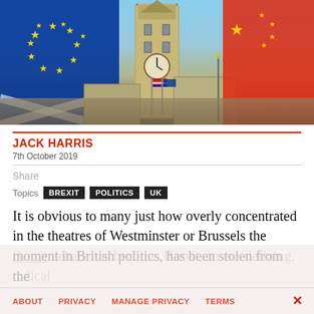[Figure (photo): Photograph of Westminster tower (Big Ben/Houses of Parliament) with EU flag on the left, Chinese flag on the right, and a Union Jack flag visible, against a blue sky.]
JACK HARRIS
7th October 2019
Share
Topics  BREXIT  POLITICS  UK
It is obvious to many just how overly concentrated in the theatres of Westminster or Brussels the Brexit debate has become. Brexit, an era-defining, radical moment in British politics, has been stolen from the
ABOUT   PRIVACY   MANAGE PRIVACY   TERMS